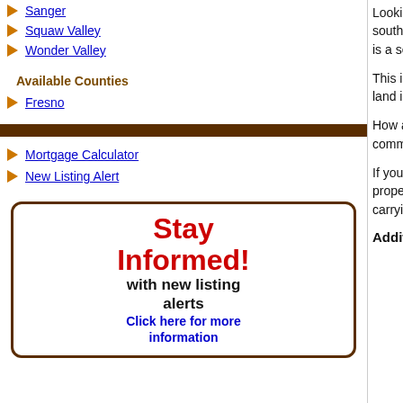Sanger
Squaw Valley
Wonder Valley
Available Counties
Fresno
Mortgage Calculator
New Listing Alert
[Figure (infographic): Stay Informed! with new listing alerts. Click here for more information. Decorative box with red bold text and blue link text.]
Looking for views and privacy, too? Here end of a very quiet cul-de-sac lane. The p western and southern San Joaquin Valley contiguous 5 acre parcels. The land com to the other side. Each lot is a separate le
This is very secluded property. With a to at you. With 3 lots you can build a home each. The land is mostly hillside but there outbuildings. There is little brush, so the l agricultural.
How about any negatives? Nearest powe service will be a bit higher than the norm highway so commute time to the valley is
If you are looking for a family compound acre parcels at an average price of under for 5 acre properties. Or if you just want e buffer on each side. No matter what you willing to consider carrying paper with a la
Additional Pictures: